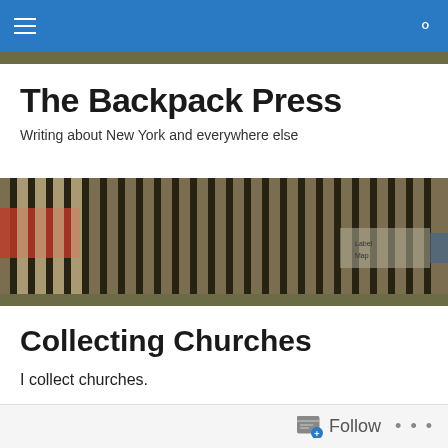Navigation bar with hamburger menu and search icon
The Backpack Press
Writing about New York and everywhere else
[Figure (photo): Interior photo of what appears to be a subway station with metal turnstiles/barriers and signage, dark tones]
Collecting Churches
I collect churches.
[Figure (photo): Partial photo at bottom, appears to be a church exterior, grayscale/muted tones]
Follow  ...